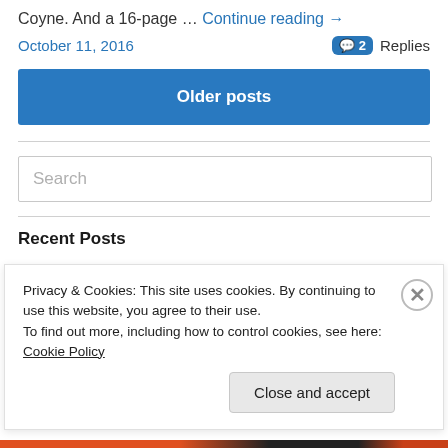Coyne. And a 16-page … Continue reading →
October 11, 2016   💬 2 Replies
Older posts
Search
Recent Posts
Privacy & Cookies: This site uses cookies. By continuing to use this website, you agree to their use.
To find out more, including how to control cookies, see here: Cookie Policy